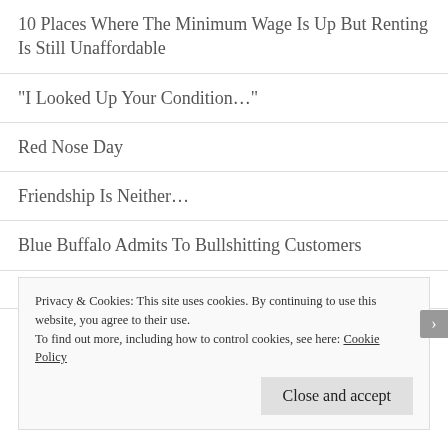10 Places Where The Minimum Wage Is Up But Renting Is Still Unaffordable
“I Looked Up Your Condition…”
Red Nose Day
Friendship Is Neither…
Blue Buffalo Admits To Bullshitting Customers
Freedom From Pain
Privacy & Cookies: This site uses cookies. By continuing to use this website, you agree to their use.
To find out more, including how to control cookies, see here: Cookie Policy
Close and accept